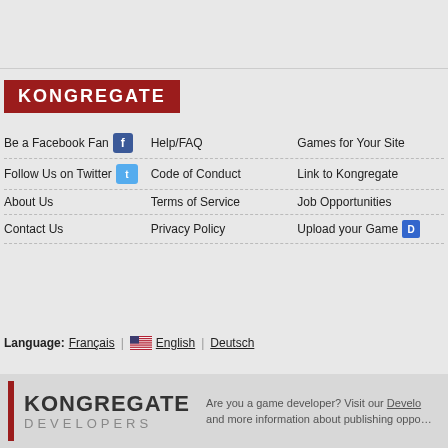[Figure (logo): Kongregate logo — white text on dark red background]
Be a Facebook Fan [Facebook icon]
Help/FAQ
Games for Your Site
Follow Us on Twitter [Twitter icon]
Code of Conduct
Link to Kongregate
About Us
Terms of Service
Job Opportunities
Contact Us
Privacy Policy
Upload your Game [D icon]
Language: Français | English | Deutsch
[Figure (logo): Kongregate Developers logo with red bar, dark KONGREGATE text, grey DEVELOPERS text]
Are you a game developer? Visit our Develo… and more information about publishing oppo…